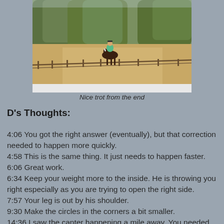[Figure (photo): A horse and rider trotting in an outdoor sand arena, viewed from the far end. Green trees in the background, wooden fence along the arena edge.]
Nice trot from the end
D's Thoughts:
4:06  You got the right answer (eventually), but that correction needed to happen more quickly.
4:58  This is the same thing.  It just needs to happen faster.
6:06  Great work.
6:34  Keep your weight more to the inside.  He is throwing you right especially as you are trying to open the right side.
7:57  Your leg is out by his shoulder.
9:30  Make the circles in the corners a bit smaller.
14:36  I saw the canter happening a mile away.  You needed